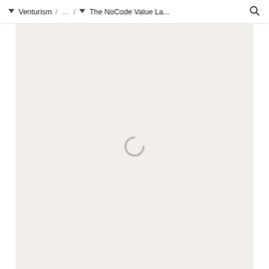Venturism / ... / The NoCode Value La...
[Figure (screenshot): Loading spinner (arc/partial circle) centered in a light gray content area, indicating page content is loading.]